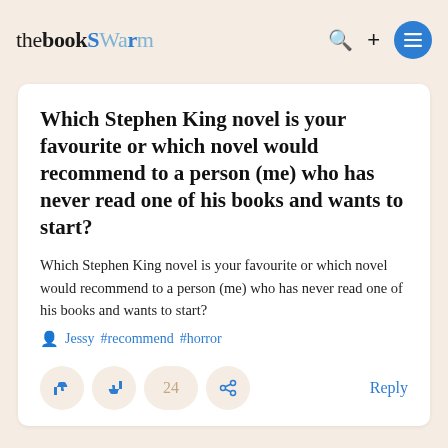thebookSwarm
Which Stephen King novel is your favourite or which novel would recommend to a person (me) who has never read one of his books and wants to start?
Which Stephen King novel is your favourite or which novel would recommend to a person (me) who has never read one of his books and wants to start?
Jessy #recommend #horror